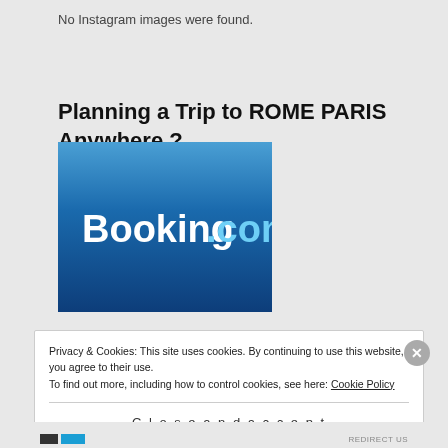No Instagram images were found.
Planning a Trip to ROME PARIS Anywhere ?
[Figure (logo): Booking.com logo — white text 'Booking.com' (with .com in blue) on a dark blue gradient background]
Privacy & Cookies: This site uses cookies. By continuing to use this website, you agree to their use. To find out more, including how to control cookies, see here: Cookie Policy
Close and accept